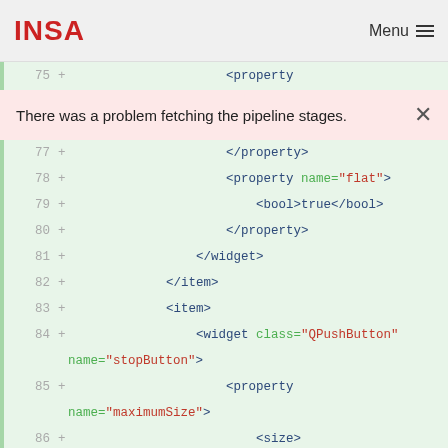INSA  Menu
[Figure (screenshot): Code diff view showing XML lines 75-91 with green background and addition markers, plus an error banner saying 'There was a problem fetching the pipeline stages.']
There was a problem fetching the pipeline stages.